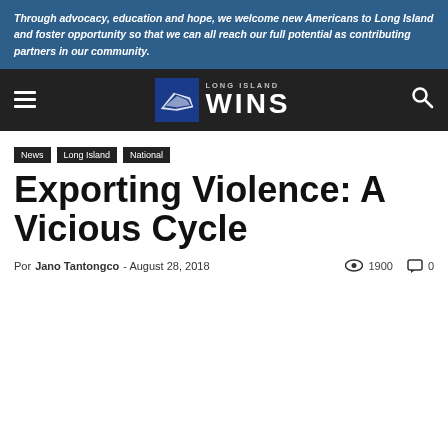Through advocacy, education and hope, we welcome new Americans to Long Island and foster opportunity so that we can all reach our full potential as contributing partners in our community.
[Figure (logo): Long Island WINS logo with hamburger menu and search icon on dark navigation bar]
News  Long Island  National
Exporting Violence: A Vicious Cycle
Por Jano Tantongco - August 28, 2018   1900   0